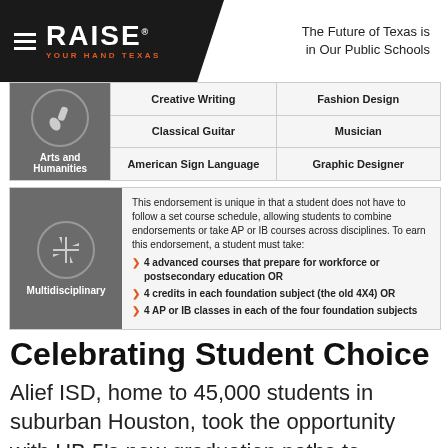RAISE YOUR HAND TEXAS — The Future of Texas is in Our Public Schools
|  | Course 1 | Course 2 |
| --- | --- | --- |
| Arts and Humanities | Creative Writing | Fashion Design |
|  | Classical Guitar | Musician |
|  | American Sign Language | Graphic Designer |
This endorsement is unique in that a student does not have to follow a set course schedule, allowing students to combine endorsements or take AP or IB courses across disciplines. To earn this endorsement, a student must take:
4 advanced courses that prepare for workforce or postsecondary education OR
4 credits in each foundation subject (the old 4X4) OR
4 AP or IB classes in each of the four foundation subjects
Celebrating Student Choice
Alief ISD, home to 45,000 students in suburban Houston, took the opportunity with HB 5's new graduation paths to celebrate student choice. The